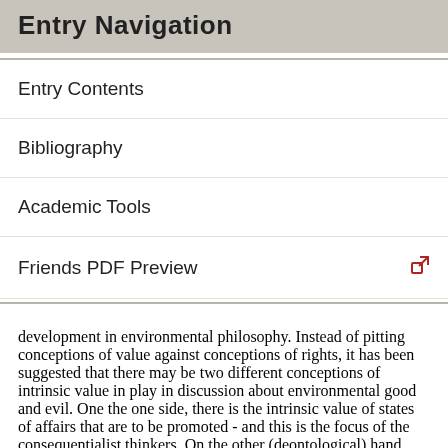Entry Navigation
Entry Contents
Bibliography
Academic Tools
Friends PDF Preview
Author and Citation Info
development in environmental philosophy. Instead of pitting conceptions of value against conceptions of rights, it has been suggested that there may be two different conceptions of intrinsic value in play in discussion about environmental good and evil. One the one side, there is the intrinsic value of states of affairs that are to be promoted - and this is the focus of the consequentialist thinkers. On the other (deontological) hand there is the intrinsic values of entities to be respected (see Bradley 2006, McShane 2014). These two different foci for the notion of intrinsic value still provide room for